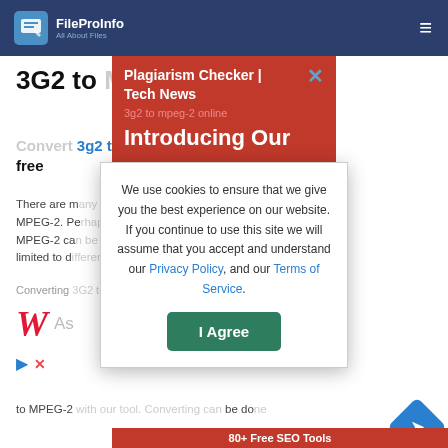FileProInfo — All About Files
3G2 to MPEG-2 Converter
Convert 3g2 to mpeg-2 online & free
There are many ways to convert 3G2 to MPEG-2. Perhaps you already know that a MPEG-2 can be converted to a 3G2 file is limited to different devices.
Converting... it easier
to MPEG-2 be done
[Figure (screenshot): Red popup banner: Plagiarism Checker | Tech News with X close button and text 'Introducing Our' and subtext '3g2 to mpeg-2 online']
[Figure (screenshot): Cookie consent modal: 'We use cookies to ensure that we give you the best experience on our website. If you continue to use this site we will assume that you accept and understand our Privacy Policy, and our Terms of Service.' with I Agree button]
[Figure (logo): Walgreens cursive W logo in red]
80+ Free SEO Tools
80+ Free SEO Tools